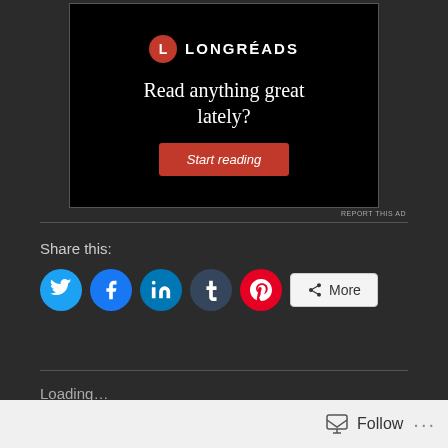[Figure (other): Longreads advertisement banner with logo, headline 'Read anything great lately?' and red 'Start reading' button on black background]
REPORT THIS AD
Share this:
[Figure (other): Social share icons: Twitter (blue circle), Facebook (blue circle), LinkedIn (blue circle), Tumblr (dark blue circle), Pinterest (red circle), and a More button]
Loading...
Follow ...